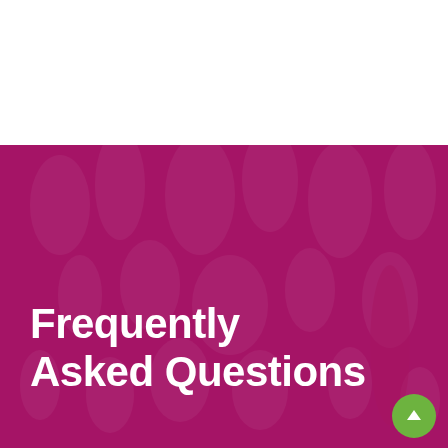[Figure (photo): Banner image with a crowd of people dancing/moving at an event, overlaid with a deep pink/magenta color wash]
Frequently Asked Questions
HOW CAN I GET A TICKET?